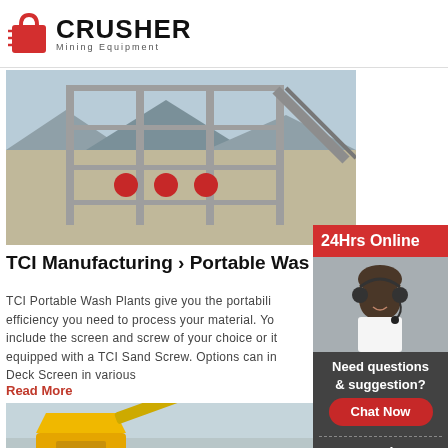[Figure (logo): Crusher Mining Equipment logo with red shopping bag icon and bold CRUSHER text]
[Figure (photo): Large industrial wash plant facility with metal framework structure and red pulley components against mountain backdrop]
TCI Manufacturing › Portable Was
TCI Portable Wash Plants give you the portability and efficiency you need to process your material. You can include the screen and screw of your choice or it can be equipped with a TCI Sand Screw. Options can include a Deck Screen in various
Read More
[Figure (photo): Yellow industrial crusher machine with crane/conveyor structure in outdoor setting]
[Figure (infographic): Sidebar: 24Hrs Online banner, customer service representative photo with headset, Need questions & suggestion? text, Chat Now button, Enquiry link, limingjlmofen@sina.com email]